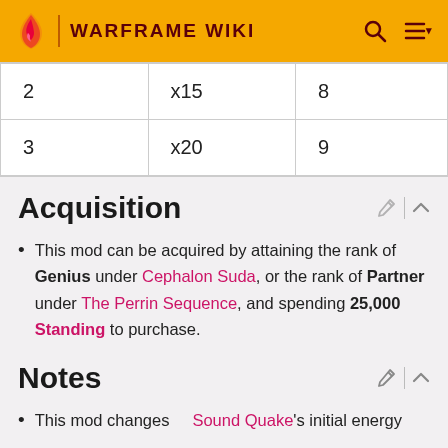WARFRAME WIKI
| 2 | x15 | 8 |
| 3 | x20 | 9 |
Acquisition
This mod can be acquired by attaining the rank of Genius under Cephalon Suda, or the rank of Partner under The Perrin Sequence, and spending 25,000 Standing to purchase.
Notes
This mod changes Sound Quake's initial energy